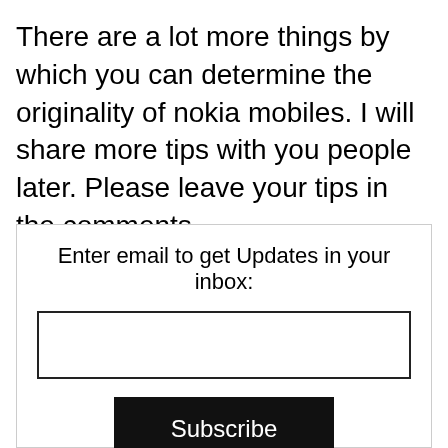There are a lot more things by which you can determine the originality of nokia mobiles. I will share more tips with you people later. Please leave your tips in the comments.
Enter email to get Updates in your inbox: